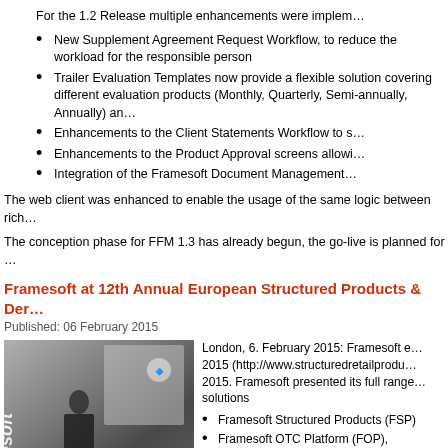For the 1.2 Release multiple enhancements were implemented:
New Supplement Agreement Request Workflow, to reduce the workload for the responsible person
Trailer Evaluation Templates now provide a flexible solution covering different evaluation products (Monthly, Quarterly, Semi-annually, Annually) and
Enhancements to the Client Statements Workflow to s
Enhancements to the Product Approval screens allowing
Integration of the Framesoft Document Management
The web client was enhanced to enable the usage of the same logic between rich
The conception phase for FFM 1.3 has already begun, the go-live is planned for
Framesoft at 12th Annual European Structured Products & Der
Published: 06 February 2015
[Figure (photo): Photo of a Framesoft booth at a conference event, showing a man in a suit standing in front of Framesoft branding banners and display materials.]
London, 6. February 2015: Framesoft e 2015 (http://www.structuredretailprodu 2015. Framesoft presented its full range solutions
Framesoft Structured Products (FSP)
Framesoft OTC Platform (FOP),
Framesoft Document Management (
Framesoft Contract Repository (FCR)
Framesoft Legal & Compliance Mat